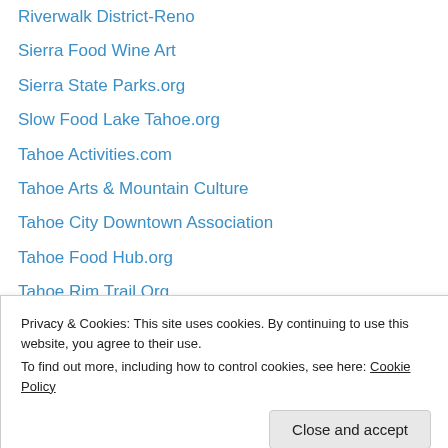Riverwalk District-Reno
Sierra Food Wine Art
Sierra State Parks.org
Slow Food Lake Tahoe.org
Tahoe Activities.com
Tahoe Arts & Mountain Culture
Tahoe City Downtown Association
Tahoe Food Hub.org
Tahoe Rim Trail Org.
The West Shore
Town of Truckee
Truckee Donner Rec. & Park
Truckee River Watershed Council
Truckee Tahoe Radio
Privacy & Cookies: This site uses cookies. By continuing to use this website, you agree to their use. To find out more, including how to control cookies, see here: Cookie Policy
Close and accept